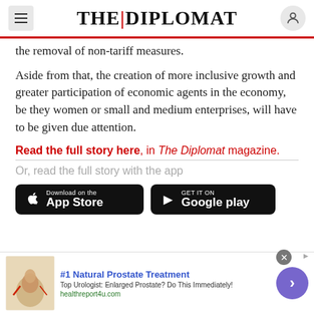THE DIPLOMAT
the removal of non-tariff measures.
Aside from that, the creation of more inclusive growth and greater participation of economic agents in the economy, be they women or small and medium enterprises, will have to be given due attention.
Read the full story here, in The Diplomat magazine.
Or, read the full story with the app
[Figure (screenshot): Download on the App Store button (black)]
[Figure (screenshot): Get it on Google Play button (black)]
[Figure (advertisement): #1 Natural Prostate Treatment ad with anatomical image, healthreport4u.com]